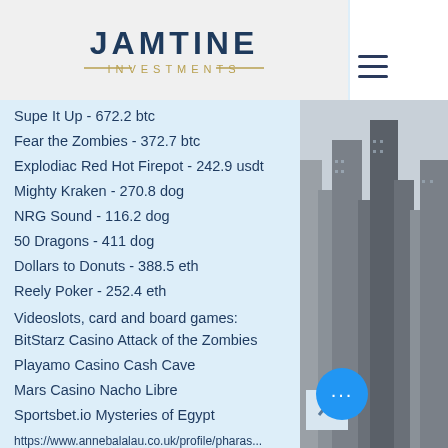[Figure (logo): Jamtine Investments logo with dark blue JAMTINE text and gold decorative lines around INVESTMENTS text]
Supe It Up - 672.2 btc
Fear the Zombies - 372.7 btc
Explodiac Red Hot Firepot - 242.9 usdt
Mighty Kraken - 270.8 dog
NRG Sound - 116.2 dog
50 Dragons - 411 dog
Dollars to Donuts - 388.5 eth
Reely Poker - 252.4 eth
Videoslots, card and board games:
BitStarz Casino Attack of the Zombies
Playamo Casino Cash Cave
Mars Casino Nacho Libre
Sportsbet.io Mysteries of Egypt
https://www.annebalalau.co.uk/profile/pharas...